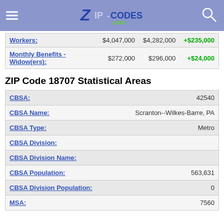ZIP-CODES.com
| Label | Value1 | Value2 | Change |
| --- | --- | --- | --- |
| Workers: | $4,047,000 | $4,282,000 | +$235,000 |
| Monthly Benefits - Widow(ers): | $272,000 | $296,000 | +$24,000 |
ZIP Code 18707 Statistical Areas
| Field | Value |
| --- | --- |
| CBSA: | 42540 |
| CBSA Name: | Scranton--Wilkes-Barre, PA |
| CBSA Type: | Metro |
| CBSA Division: |  |
| CBSA Division Name: |  |
| CBSA Population: | 563,631 |
| CBSA Division Population: | 0 |
| MSA: | 7560 |